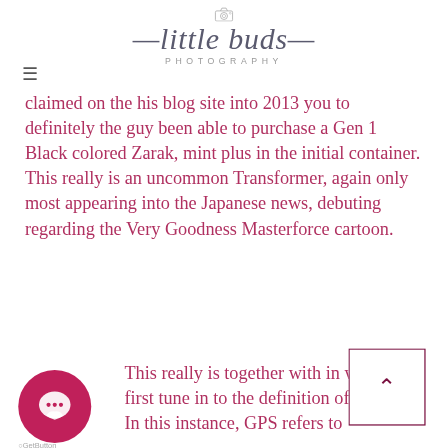little buds PHOTOGRAPHY
claimed on the his blog site into 2013 you to definitely the guy been able to purchase a Gen 1 Black colored Zarak, mint plus in the initial container. This really is an uncommon Transformer, again only most appearing into the Japanese news, debuting regarding the Very Goodness Masterforce cartoon.
This really is together with in which i first tune in to the definition of “GPS.” In this instance, GPS refers to